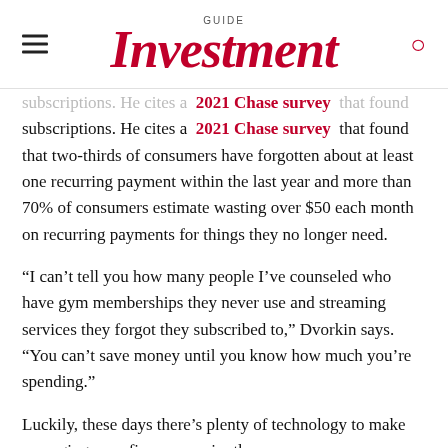GUIDE Investment
subscriptions. He cites a 2021 Chase survey that found that two-thirds of consumers have forgotten about at least one recurring payment within the last year and more than 70% of consumers estimate wasting over $50 each month on recurring payments for things they no longer need.
“I can’t tell you how many people I’ve counseled who have gym memberships they never use and streaming services they forgot they subscribed to,” Dvorkin says. “You can’t save money until you know how much you’re spending.”
Luckily, these days there’s plenty of technology to make managing your finances easier than ever.